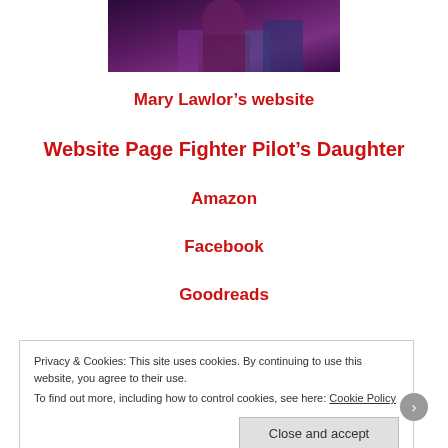[Figure (photo): Partial photo of a person in colorful costume, cropped at top of page]
Mary Lawlor's website
Website Page Fighter Pilot's Daughter
Amazon
Facebook
Goodreads
Privacy & Cookies: This site uses cookies. By continuing to use this website, you agree to their use.
To find out more, including how to control cookies, see here: Cookie Policy
Close and accept